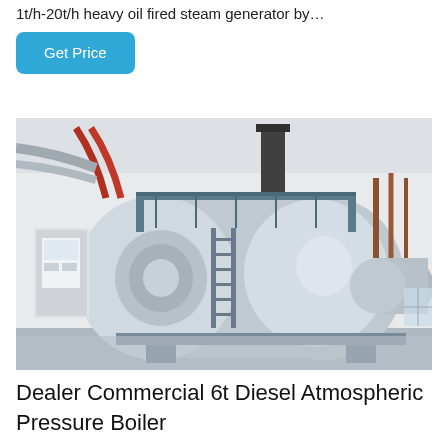1t/h-20t/h heavy oil fired steam generator by…
Get Price
[Figure (photo): Industrial boiler room showing a large horizontal steam boiler with cylindrical body, access ladder, red and silver pipe work, and control panel inside a white industrial building.]
Dealer Commercial 6t Diesel Atmospheric Pressure Boiler